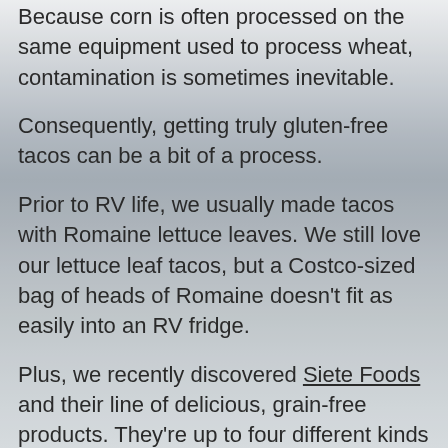Because corn is often processed on the same equipment used to process wheat, contamination is sometimes inevitable.
Consequently, getting truly gluten-free tacos can be a bit of a process.
Prior to RV life, we usually made tacos with Romaine lettuce leaves. We still love our lettuce leaf tacos, but a Costco-sized bag of heads of Romaine doesn’t fit as easily into an RV fridge.
Plus, we recently discovered Siete Foods and their line of delicious, grain-free products. They’re up to four different kinds of tortillas so far: cassava, almond, chickpea, and